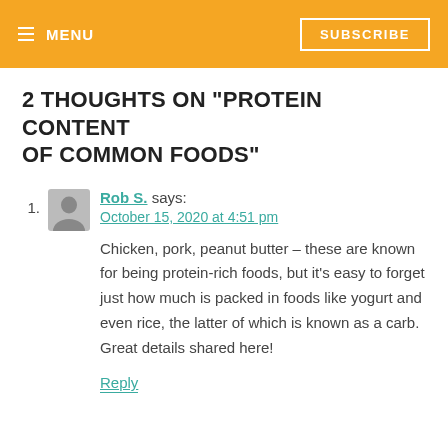≡ MENU  SUBSCRIBE
2 THOUGHTS ON "PROTEIN CONTENT OF COMMON FOODS"
Rob S. says:
October 15, 2020 at 4:51 pm

Chicken, pork, peanut butter – these are known for being protein-rich foods, but it's easy to forget just how much is packed in foods like yogurt and even rice, the latter of which is known as a carb. Great details shared here!

Reply